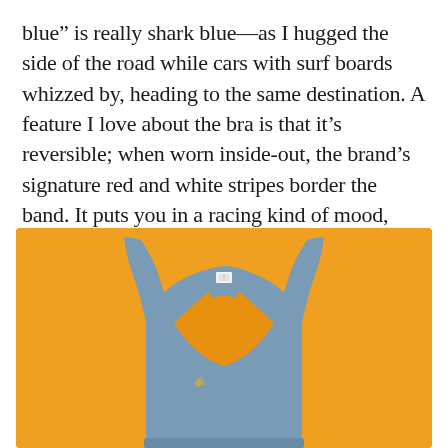blue” is really shark blue—as I hugged the side of the road while cars with surf boards whizzed by, heading to the same destination. A feature I love about the bra is that it’s reversible; when worn inside-out, the brand’s signature red and white stripes border the band. It puts you in a racing kind of mood, reminiscent of the side seams of old track uniforms from yesteryear.
[Figure (photo): A blue racerback sports bra photographed on an orange background. The bra is a muted steel blue color with orange lining visible at the racerback opening. A small logo (an antelope or gazelle) is embroidered on the lower left chest area. A label tag is visible at the center back neckline.]